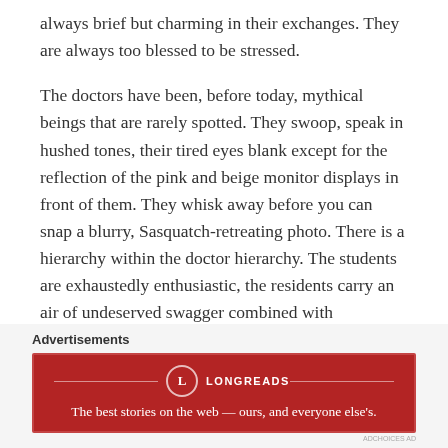always brief but charming in their exchanges. They are always too blessed to be stressed.
The doctors have been, before today, mythical beings that are rarely spotted. They swoop, speak in hushed tones, their tired eyes blank except for the reflection of the pink and beige monitor displays in front of them. They whisk away before you can snap a blurry, Sasquatch-retreating photo. There is a hierarchy within the doctor hierarchy. The students are exhaustedly enthusiastic, the residents carry an air of undeserved swagger combined with competitive nervousness. At rounds, they travel in a tight cyclone.
[Figure (other): Horizontal divider line]
Advertisements
[Figure (other): Longreads advertisement banner — red background with Longreads logo and tagline: The best stories on the web — ours, and everyone else's.]